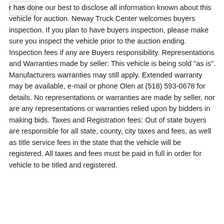r has done our best to disclose all information known about this vehicle for auction. Neway Truck Center welcomes buyers inspection. If you plan to have buyers inspection, please make sure you inspect the vehicle prior to the auction ending. Inspection fees if any are Buyers responsibility. Representations and Warranties made by seller: This vehicle is being sold "as is". Manufacturers warranties may still apply. Extended warranty may be available, e-mail or phone Olen at (518) 593-0678 for details. No representations or warranties are made by seller, nor are any representations or warranties relied upon by bidders in making bids. Taxes and Registration fees: Out of state buyers are responsible for all state, county, city taxes and fees, as well as title service fees in the state that the vehicle will be registered. All taxes and fees must be paid in full in order for vehicle to be titled and registered.